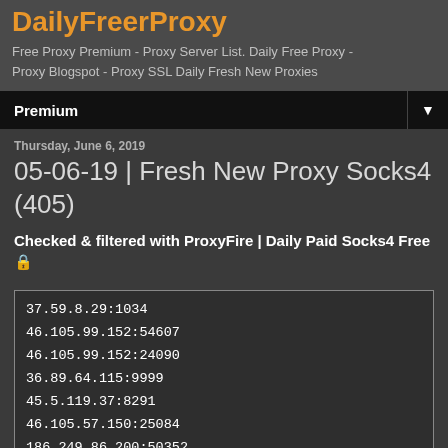DailyFreerProxy
Free Proxy Premium - Proxy Server List. Daily Free Proxy - Proxy Blogspot - Proxy SSL Daily Fresh New Proxies
Premium
Thursday, June 6, 2019
05-06-19 | Fresh New Proxy Socks4 (405)
Checked & filtered with ProxyFire | Daily Paid Socks4 Free 🔒
| Proxy |
| --- |
| 37.59.8.29:1034 |
| 46.105.99.152:54607 |
| 46.105.99.152:24090 |
| 36.89.64.115:9999 |
| 45.5.119.37:8291 |
| 46.105.57.150:25084 |
| 186.249.86.200:50352 |